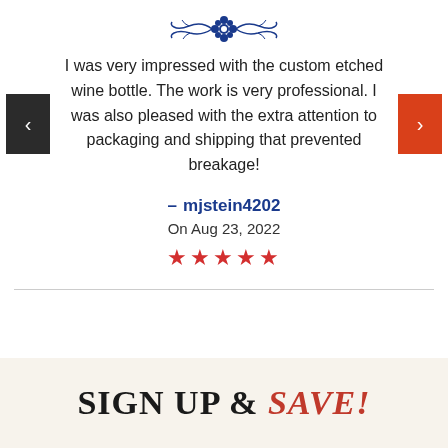[Figure (illustration): Decorative blue floral ornament divider at top of page]
I was very impressed with the custom etched wine bottle. The work is very professional. I was also pleased with the extra attention to packaging and shipping that prevented breakage!
— mjstein4202
On Aug 23, 2022
★★★★★
SIGN UP & SAVE!